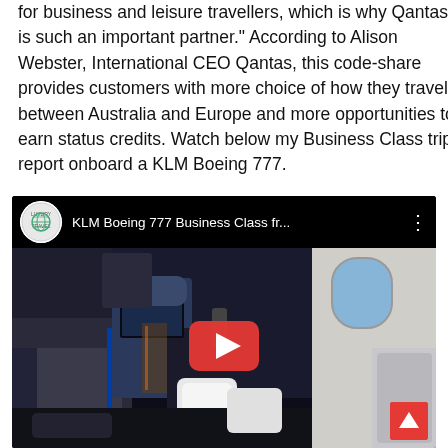for business and leisure travellers, which is why Qantas is such an important partner." According to Alison Webster, International CEO Qantas, this code-share provides customers with more choice of how they travel between Australia and Europe and more opportunities to earn status credits. Watch below my Business Class trip report onboard a KLM Boeing 777.
[Figure (screenshot): Embedded YouTube video thumbnail showing KLM Boeing 777 Business Class cabin interior with a play button overlay. Video title: KLM Boeing 777 Business Class fr... with channel logo and three-dot menu.]